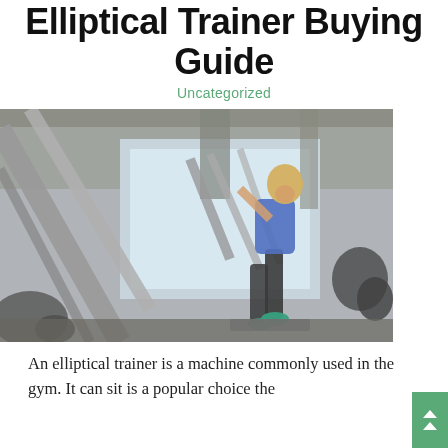Elliptical Trainer Buying Guide
Uncategorized
[Figure (photo): A woman using an elliptical trainer in a gym setting with large windows, machinery in the foreground]
An elliptical trainer is a machine commonly used in the gym. It can sit is a popular choice the